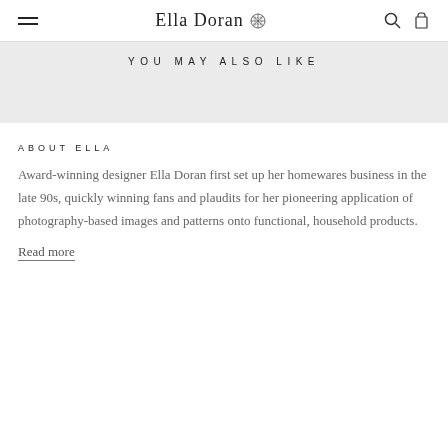Ella Doran
YOU MAY ALSO LIKE
ABOUT ELLA
Award-winning designer Ella Doran first set up her homewares business in the late 90s, quickly winning fans and plaudits for her pioneering application of photography-based images and patterns onto functional, household products.
Read more